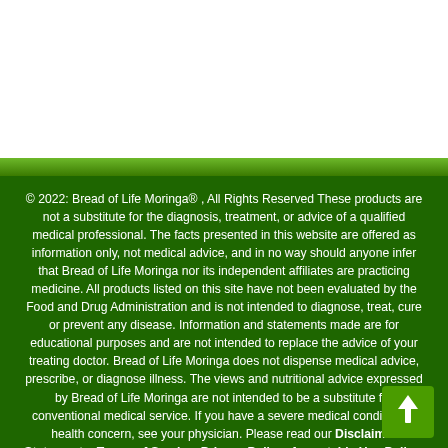© 2022: Bread of Life Moringa® , All Rights Reserved These products are not a substitute for the diagnosis, treatment, or advice of a qualified medical professional. The facts presented in this website are offered as information only, not medical advice, and in no way should anyone infer that Bread of Life Moringa nor its independent affiliates are practicing medicine. All products listed on this site have not been evaluated by the Food and Drug Administration and is not intended to diagnose, treat, cure or prevent any disease. Information and statements made are for educational purposes and are not intended to replace the advice of your treating doctor. Bread of Life Moringa does not dispense medical advice, prescribe, or diagnose illness. The views and nutritional advice expressed by Bread of Life Moringa are not intended to be a substitute for conventional medical service. If you have a severe medical condition or health concern, see your physician. Please read our Disclaimer Statements, Terms of Service, Privacy Policy, Acceptable Use Policy, Shipping Policy, Return Policy,